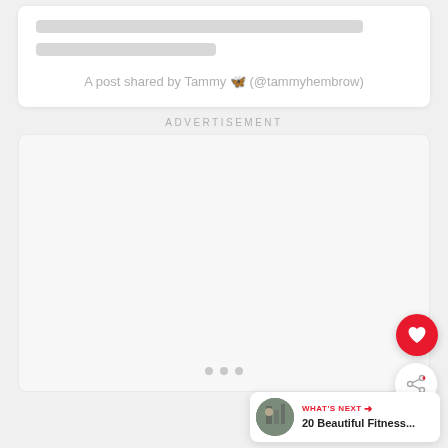[Figure (screenshot): Skeleton loading placeholder lines in a white card]
A post shared by Tammy 🦋 (@tammyhembrow)
ADVERTISEMENT
[Figure (infographic): Advertisement placeholder area with three dots at bottom]
[Figure (other): Floating heart (favorite) button in red circle]
[Figure (other): Floating share button in white circle]
[Figure (screenshot): What's Next panel showing thumbnail and text '20 Beautiful Fitness...']